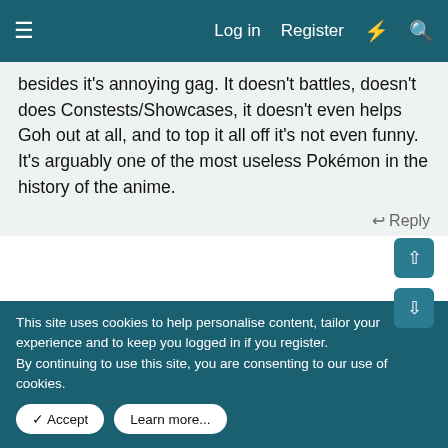Log in  Register
besides it's annoying gag. It doesn't battles, doesn't does Constests/Showcases, it doesn't even helps Goh out at all, and to top it all off it's not even funny. It's arguably one of the most useless Pokémon in the history of the anime.
↩ Reply
👍 🏠 Nichole the Otter, KrspaceT, London-Moniton and 7 others
Unireon
Jan 3, 2022  #74
This site uses cookies to help personalise content, tailor your experience and to keep you logged in if you register.
By continuing to use this site, you are consenting to our use of cookies.
✓ Accept   Learn more...